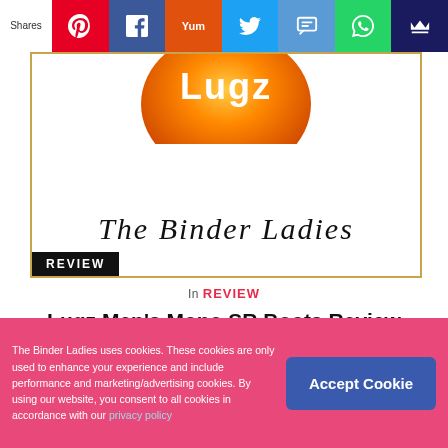Shares | Pinterest | Facebook | Yummly | Twitter | SMS | WhatsApp | Crown
[Figure (logo): Blog header image showing Lugz logo circle at top and 'The Binder Ladies' in decorative script font, with a REVIEW badge in the bottom-left corner. Bordered with gold/amber frame.]
In REVIEW
Lugz Men’s Mono SR Boots Review
JULY 15, 2016 - NO COMMENTS
Best known for their rugged good looks and sassy street
The Binder Ladies uses cookies. These cookies are only used to enhance your experience and include performance and marketing/advertising cookies. By using our website, you consent to all cookies in accordance with our privacy policy
Accept Cookie